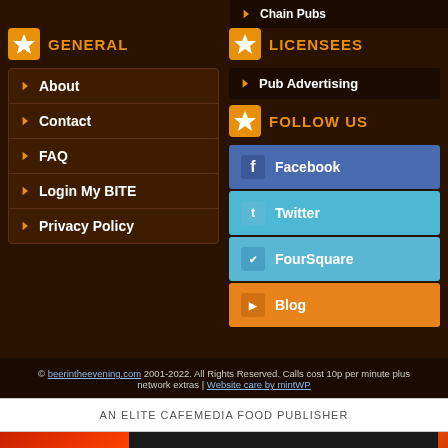Chain Pubs
GENERAL
LICENSEES
About
Pub Advertising
Contact
FOLLOW US
FAQ
Login My BITE
Privacy Policy
Facebook
Twitter
FourSquare
Blog
© beerintheevening.com 2001-2022. All Rights Reserved. Calls cost 10p per minute plus network extras | Website care by mintWP
AN ELITE CAFEMEDIA FOOD PUBLISHER
[Figure (photo): BitLife advertisement banner with flame graphics, FAIL text, and START A NEW LIFE tagline]